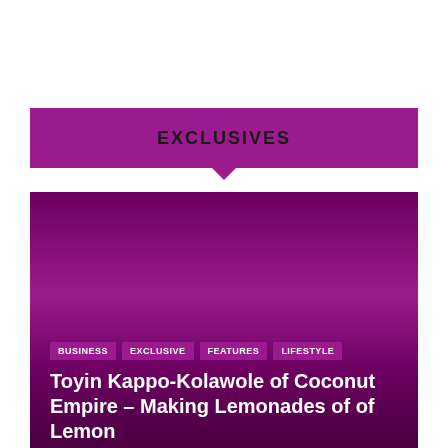EXCLUSIVES
[Figure (illustration): Purple gradient card with category tags and article title overlay]
BUSINESS
EXCLUSIVE
FEATURES
LIFESTYLE
Toyin Kappo-Kolawole of Coconut Empire – Making Lemonades of of Lemon